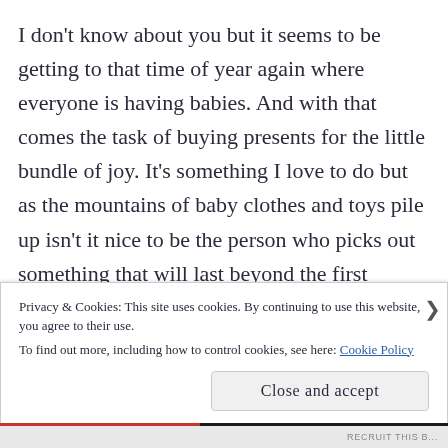I don't know about you but it seems to be getting to that time of year again where everyone is having babies. And with that comes the task of buying presents for the little bundle of joy. It's something I love to do but as the mountains of baby clothes and toys pile up isn't it nice to be the person who picks out something that will last beyond the first twelve months? That's where books come into their own as a well chosen book, even a board book, can be treasured long after the first birthday. In fact the chosen few may even be passed on to younger siblings
Privacy & Cookies: This site uses cookies. By continuing to use this website, you agree to their use.
To find out more, including how to control cookies, see here: Cookie Policy
Close and accept